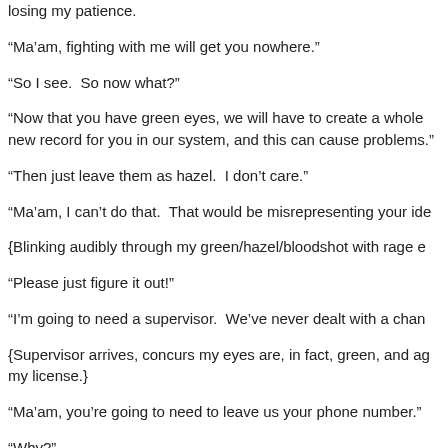losing my patience.
“Ma’am, fighting with me will get you nowhere.”
“So I see.  So now what?”
“Now that you have green eyes, we will have to create a whole new record for you in our system, and this can cause problems.”
“Then just leave them as hazel.  I don’t care.”
“Ma’am, I can’t do that.  That would be misrepresenting your ide
{Blinking audibly through my green/hazel/bloodshot with rage e
“Please just figure it out!”
“I’m going to need a supervisor.  We’ve never dealt with a chan
{Supervisor arrives, concurs my eyes are, in fact, green, and ag my license.}
“Ma’am, you’re going to need to leave us your phone number.”
“Why?”